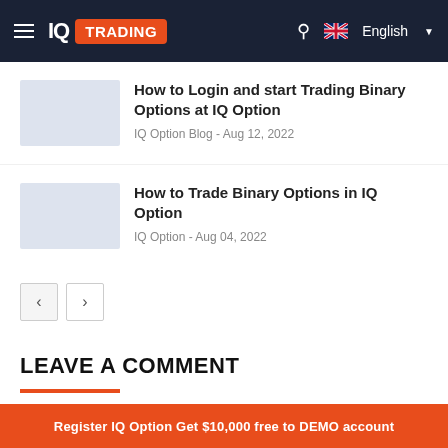IQ TRADING
How to Login and start Trading Binary Options at IQ Option
IQ Option Blog - Aug 12, 2022
How to Trade Binary Options in IQ Option
IQ Option - Aug 04, 2022
LEAVE A COMMENT
Register IQ Option Get $10,000 free to DEMO account